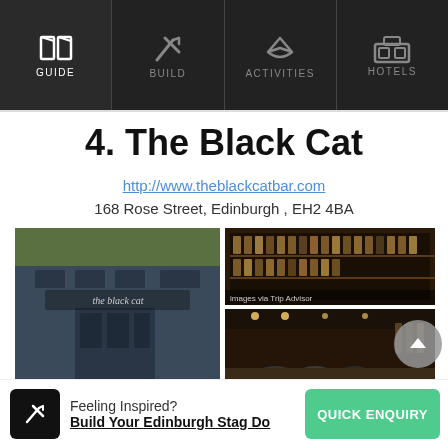GUIDE | BUILD | ACTIVITIES | HOTELS
4. The Black Cat
http://www.theblackcatbar.com
168 Rose Street, Edinburgh , EH2 4BA
[Figure (photo): Photo collage of The Black Cat bar: exterior storefront on the left, interior bar shelves top right, interior with customers bottom right]
Feeling Inspired?
Build Your Edinburgh Stag Do
QUICK ENQUIRY